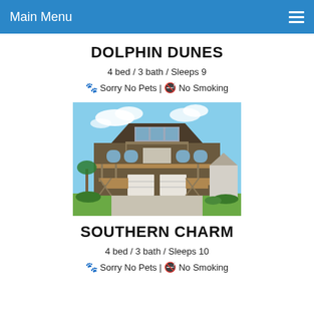Main Menu
DOLPHIN DUNES
4 bed / 3 bath / Sleeps 9
🐾 Sorry No Pets | 🚭 No Smoking
[Figure (photo): Exterior photo of a large two-story beach house with wooden siding, double garage doors, wooden staircases, and upper deck balcony under blue sky.]
SOUTHERN CHARM
4 bed / 3 bath / Sleeps 10
🐾 Sorry No Pets | 🚭 No Smoking